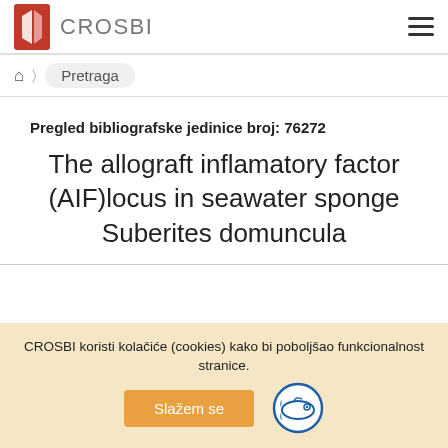CROSBI
Pretraga
Pregled bibliografske jedinice broj: 76272
The allograft inflamatory factor (AIF)locus in seawater sponge Suberites domuncula
CROSBI koristi kolačiće (cookies) kako bi poboljšao funkcionalnost stranice.
Slažem se